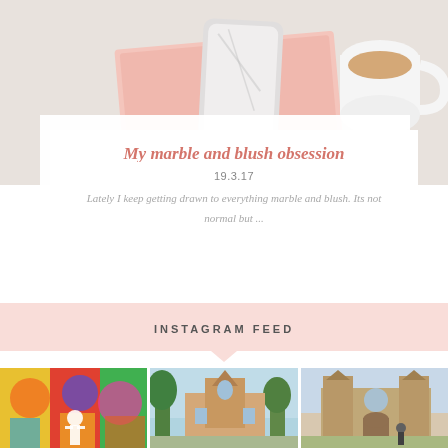[Figure (photo): Flat lay photo showing a pink notebook, phone with marble case, and coffee cup on a desk]
My marble and blush obsession
19.3.17
Lately I keep getting drawn to everything marble and blush. Its not normal but ...
INSTAGRAM FEED
[Figure (photo): Colorful street mural with a person standing in front]
[Figure (photo): Church building with trees and blue sky]
[Figure (photo): Cathedral with a person standing in front on a sunny day]